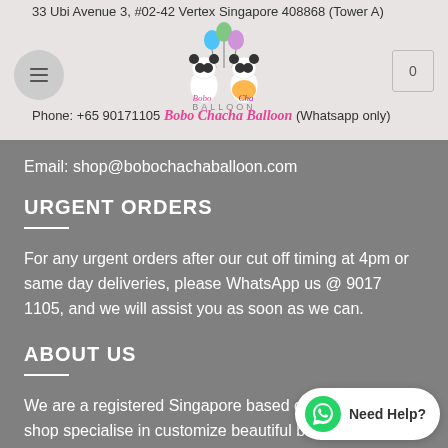33 Ubi Avenue 3, #02-42 Vertex Singapore 408868 (Tower A)
Phone: +65 90171105 Bobo Chacha Balloon (Whatsapp only)
Email: shop@bobochachaballoon.com
URGENT ORDERS
For any urgent orders after our cut off timing at 4pm or same day deliveries, please WhatsApp us @ 9017 1105, and we will assist you as soon as we can.
ABOUT US
We are a registered Singapore based online balloon shop specialise in customize beautiful balloons for any occasion. Ranging from balloons deco to party accessories we only